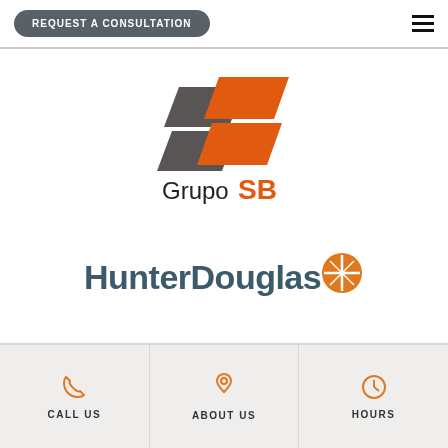REQUEST A CONSULTATION
[Figure (logo): Grupo SB logo — two parallelogram shapes in dark gray and orange stacked, with text 'Grupo SB' below where 'SB' is in orange]
[Figure (logo): HunterDouglas logo — bold teal/dark blue text 'HunterDouglas' with an orange compass/circle icon to the right]
CALL US
ABOUT US
HOURS